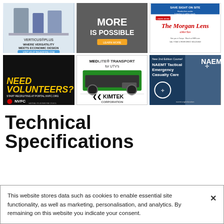[Figure (illustration): Grid of 6 advertisement images: Verticus Plus fire equipment, 'More Is Possible' ad, The Morgan Lens eye care ad, NVFC 'Need Volunteers?' recruitment ad, Kimtek Corporation MedLite Transport for UTVs ad, NAEMT Tactical Emergency Casualty Care course ad]
Technical Specifications
This website stores data such as cookies to enable essential site functionality, as well as marketing, personalisation, and analytics. By remaining on this website you indicate your consent.